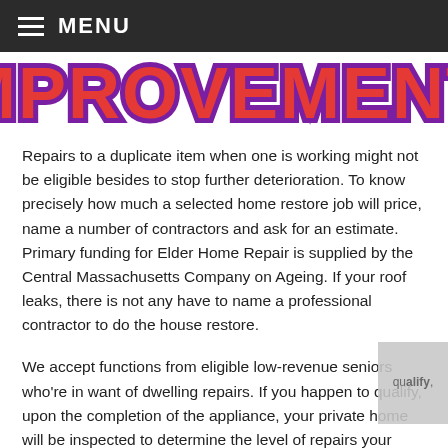≡ MENU
[Figure (illustration): Partial banner/logo image showing large bold red letters with purple outline spelling 'IMPROVEMENT' (partially cropped), on a white background]
Repairs to a duplicate item when one is working might not be eligible besides to stop further deterioration. To know precisely how much a selected home restore job will price, name a number of contractors and ask for an estimate. Primary funding for Elder Home Repair is supplied by the Central Massachusetts Company on Ageing. If your roof leaks, there is not any have to name a professional contractor to do the house restore.
We accept functions from eligible low-revenue seniors who're in want of dwelling repairs. If you happen to qualify, upon the completion of the appliance, your private home will be inspected to determine the level of repairs your residence is eligible to receive (additional documents could